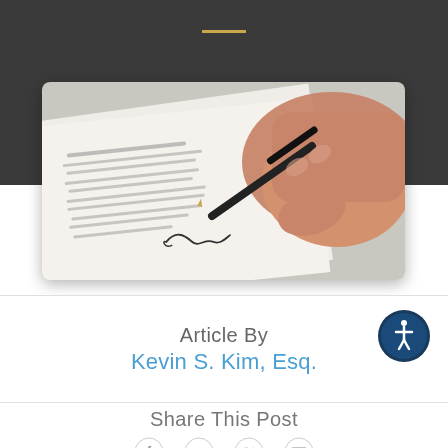[Figure (photo): Person's hand signing a document with a fountain pen on a white paper with lorem ipsum text visible]
Article By
Kevin S. Kim, Esq.
Share This Post